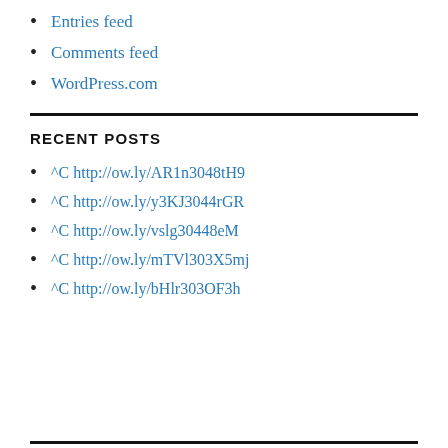Entries feed
Comments feed
WordPress.com
RECENT POSTS
^C http://ow.ly/AR1n3048tH9
^C http://ow.ly/y3KJ3044rGR
^C http://ow.ly/vslg30448eM
^C http://ow.ly/mTVl303X5mj
^C http://ow.ly/bHlr303OF3h